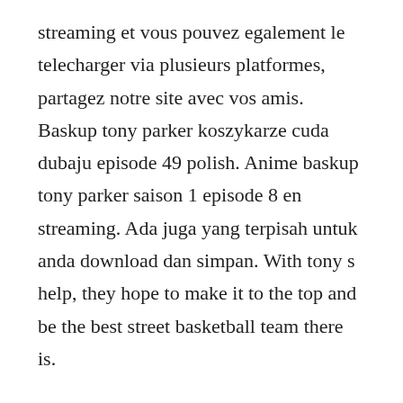streaming et vous pouvez egalement le telecharger via plusieurs platformes, partagez notre site avec vos amis. Baskup tony parker koszykarze cuda dubaju episode 49 polish. Anime baskup tony parker saison 1 episode 8 en streaming. Ada juga yang terpisah untuk anda download dan simpan. With tony s help, they hope to make it to the top and be the best street basketball team there is.
Maxibasket 37 by maxibasketnews tomar presse issuu. Watch kuroko no basket episode 1 in hd online with english sub and dub.